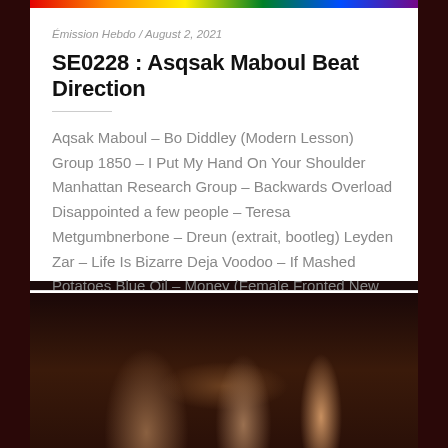Émission Hebdo / August 2, 2021
SE0228 : Asqsak Maboul Beat Direction
Aqsak Maboul – Bo Diddley (Modern Lesson) Group 1850 – I Put My Hand On Your Shoulder Manhattan Research Group – Backwards Overload Disappointed a few people – Teresa Metgumbnerbone – Dreun (extrait, bootleg) Leyden Zar – Life Is Bizarre Deja Voodoo – If Mashed Potatoes Blue Oil – Money (Female Fronted New Wave) Jay …
READ ARTICLE →
[Figure (photo): Dark image showing figures or sculptures in a shadowy, dramatic scene with warm amber tones against a dark background]